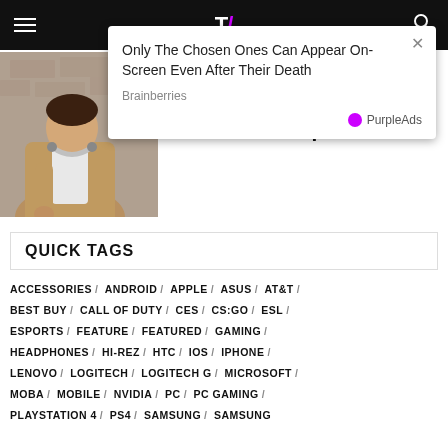Navigation bar with hamburger menu, logo, and search icon
[Figure (screenshot): Advertisement overlay popup with title 'Only The Chosen Ones Can Appear On-Screen Even After Their Death', source 'Brainberries', and PurpleAds branding]
[Figure (photo): Person wearing headphones around neck, outdoors against stone wall background]
the Brands First All-Wireless Headphones
QUICK TAGS
ACCESSORIES / ANDROID / APPLE / ASUS / AT&T /
BEST BUY / CALL OF DUTY / CES / CS:GO / ESL /
ESPORTS / FEATURE / FEATURED / GAMING /
HEADPHONES / HI-REZ / HTC / IOS / IPHONE /
LENOVO / LOGITECH / LOGITECH G / MICROSOFT /
MOBA / MOBILE / NVIDIA / PC / PC GAMING /
PLAYSTATION 4 / PS4 / SAMSUNG / SAMSUNG